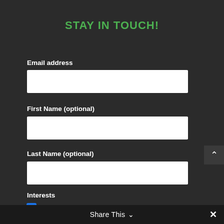STAY IN TOUCH!
Email address
First Name (optional)
Last Name (optional)
Interests
Events/Workshops
Articles/Media
Share This